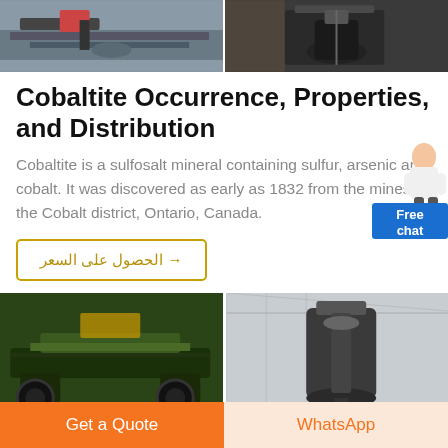[Figure (photo): Two industrial mining/crushing machinery photos side by side — left shows conveyor belt equipment in a factory, right shows a large crusher machine.]
Cobaltite Occurrence, Properties, and Distribution
Cobaltite is a sulfosalt mineral containing sulfur, arsenic and cobalt. It was discovered as early as 1832 from the mines in the Cobalt district, Ontario, Canada.
[Figure (illustration): Free chat widget with a female figure illustration and blue button labeled 'Free chat']
→ الحصول على السعر
[Figure (photo): Two photos of heavy mining and crushing equipment — left shows a green mobile crusher on tracks, right shows a large vertical grinding mill in a warehouse.]
Get a Quote
WhatsApp